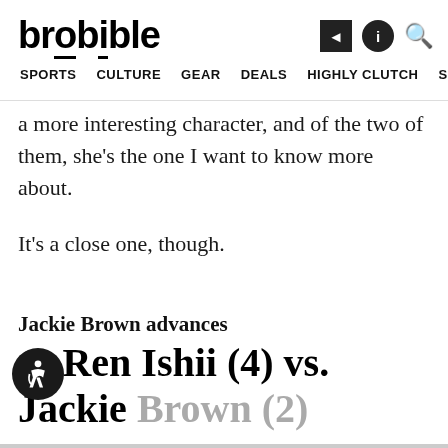brobible
SPORTS  CULTURE  GEAR  DEALS  HIGHLY CLUTCH  SHOP >
a more interesting character, and of the two of them, she’s the one I want to know more about.
It’s a close one, though.
Jackie Brown advances
O-Ren Ishii (4) vs. Jackie Brown (2)